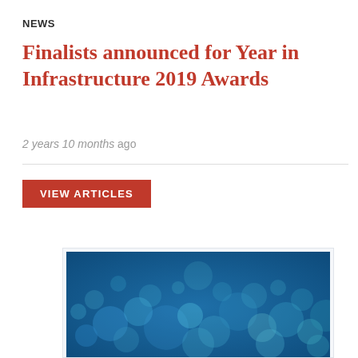NEWS
Finalists announced for Year in Infrastructure 2019 Awards
2 years 10 months ago
[Figure (photo): Blue bokeh lights background image with blurred circular light effects on a dark blue background, partially visible card/article preview below]
VIEW ARTICLES